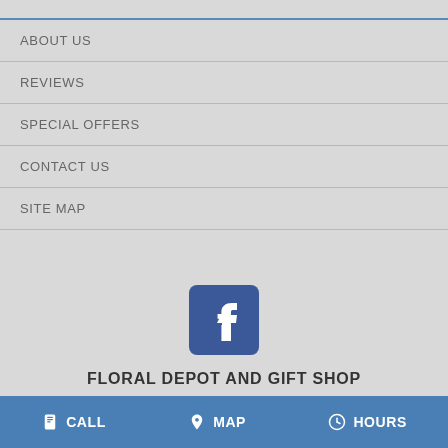ABOUT US
REVIEWS
SPECIAL OFFERS
CONTACT US
SITE MAP
[Figure (logo): Facebook logo icon — blue rounded square with white 'f' letter]
FLORAL DEPOT AND GIFT SHOP
CALL  MAP  HOURS